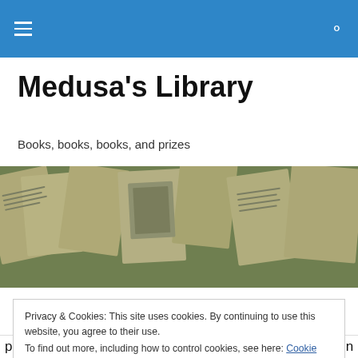Medusa's Library — navigation bar with hamburger menu and search icon
Medusa's Library
Books, books, books, and prizes
[Figure (photo): A wide banner image showing scattered newspaper/book pages and documents laid out flat, with a vintage sepia tone.]
Privacy & Cookies: This site uses cookies. By continuing to use this website, you agree to their use.
To find out more, including how to control cookies, see here: Cookie Policy
[Close and accept button]
play with adorable dogs, and check off two major items on